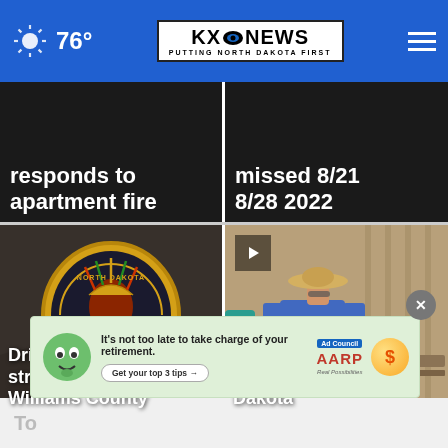76° KXNEWS PUTTING NORTH DAKOTA FIRST
responds to apartment fire
missed 8/21 8/28 2022
[Figure (photo): North Dakota Highway Patrol badge close-up on dark uniform]
Driver killed after striking deer in Williams County
[Figure (photo): Man in blue shirt and straw hat speaking, sitting on bench indoors]
Saving indigenous languages in North Dakota
[Figure (other): AARP advertisement: It's not too late to take charge of your retirement. Get your top 3 tips.]
To